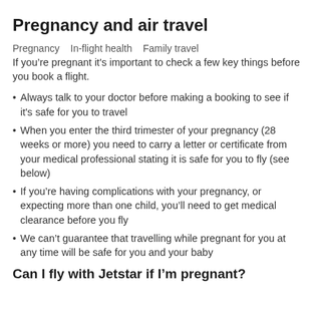Pregnancy and air travel
Pregnancy   In-flight health   Family travel
If you’re pregnant it’s important to check a few key things before you book a flight.
Always talk to your doctor before making a booking to see if it’s safe for you to travel
When you enter the third trimester of your pregnancy (28 weeks or more) you need to carry a letter or certificate from your medical professional stating it is safe for you to fly (see below)
If you’re having complications with your pregnancy, or expecting more than one child, you’ll need to get medical clearance before you fly
We can’t guarantee that travelling while pregnant for you at any time will be safe for you and your baby
Can I fly with Jetstar if I’m pregnant?